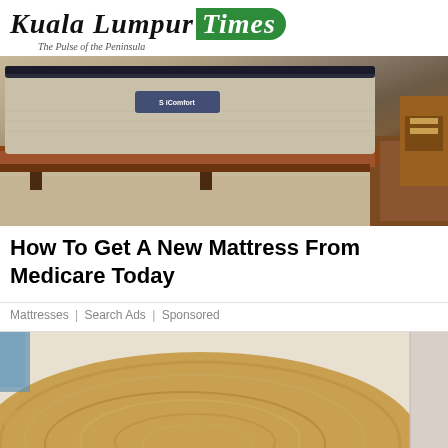Kuala Lumpur Times — The Pulse of the Peninsula
[Figure (photo): Photo of a mattress on a wooden bed frame on a carpet floor in a bedroom setting, with a Serta iComfort brand label visible]
How To Get A New Mattress From Medicare Today
Mattresses | Search Ads | Sponsored
[Figure (photo): Close-up photo of a live-edge wooden table or slab showing natural wood grain and swirling patterns]